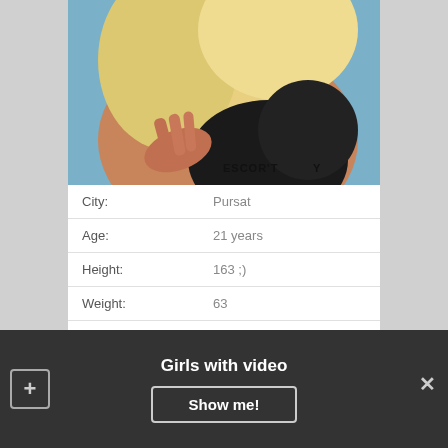[Figure (photo): Close-up photo of a blonde woman with a watermark text 'ESCORT [...]Y' in the lower right area of the image]
| City: | Pursat |
| Age: | 21 years |
| Height: | 163 ;) |
| Weight: | 63 |
| Time to call ☎: | 10:00 – 23:00 |
Girls with video
Show me!